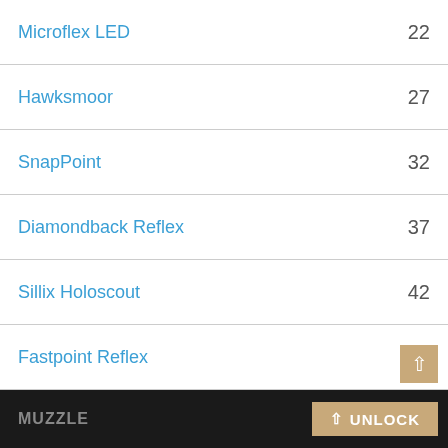Microflex LED   22
Hawksmoor   27
SnapPoint   32
Diamondback Reflex   37
Sillix Holoscout   42
Fastpoint Reflex   47
Axial Arms 3x   52
SUSAT Multizoom   55
MUZZLE   UNLOCK